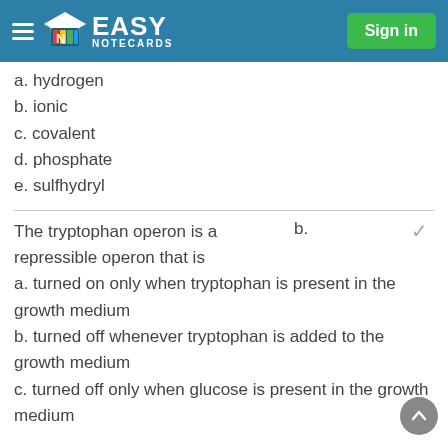Easy Notecards — Sign in
a. hydrogen
b. ionic
c. covalent
d. phosphate
e. sulfhydryl
The tryptophan operon is a repressible operon that is
a. turned on only when tryptophan is present in the growth medium
b. turned off whenever tryptophan is added to the growth medium
c. turned off only when glucose is present in the growth medium